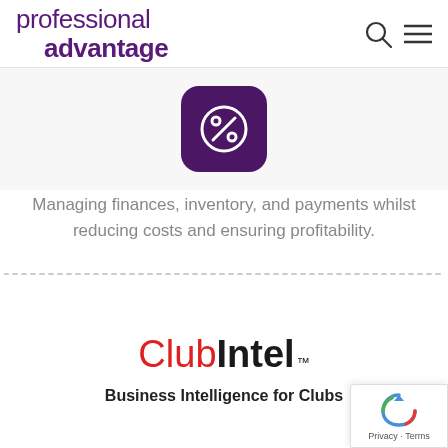professional advantage
[Figure (illustration): Purple rounded square icon with a percentage sign (%) symbol in white outline on a light gray background]
Managing finances, inventory, and payments whilst reducing costs and ensuring profitability.
[Figure (logo): ClubIntel™ logo — 'Club' in red thin weight font, 'Intel' in bold black font, followed by ™ superscript]
Business Intelligence for Clubs